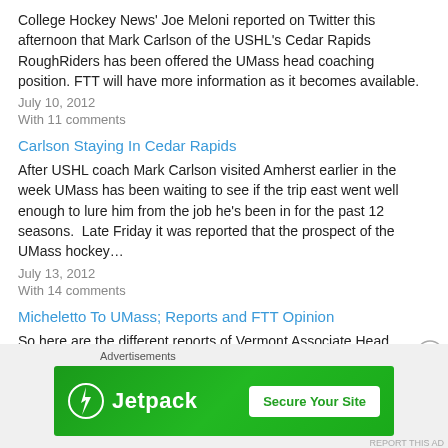College Hockey News' Joe Meloni reported on Twitter this afternoon that Mark Carlson of the USHL's Cedar Rapids RoughRiders has been offered the UMass head coaching position. FTT will have more information as it becomes available.
July 10, 2012
With 11 comments
Carlson Staying In Cedar Rapids
After USHL coach Mark Carlson visited Amherst earlier in the week UMass has been waiting to see if the trip east went well enough to lure him from the job he's been in for the past 12 seasons.  Late Friday it was reported that the prospect of the UMass hockey…
July 13, 2012
With 14 comments
Micheletto To UMass; Reports and FTT Opinion
So here are the different reports of Vermont Associate Head Coach
[Figure (infographic): Jetpack advertisement banner: green background with Jetpack logo (lightning bolt icon) and brand name on left, white 'Secure Your Site' button on right. Labeled 'Advertisements' above.]